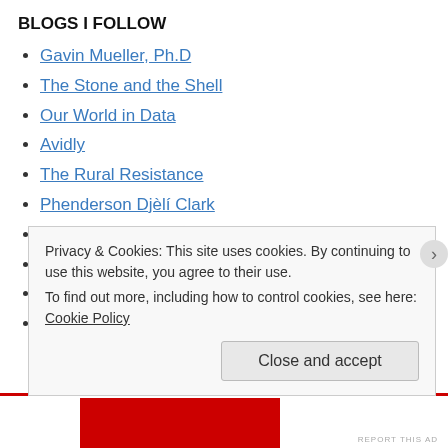BLOGS I FOLLOW
Gavin Mueller, Ph.D
The Stone and the Shell
Our World in Data
Avidly
The Rural Resistance
Phenderson Djèlí Clark
National Geographic Education Blog
All Romance Reads
LitHacker
Dlisted
Privacy & Cookies: This site uses cookies. By continuing to use this website, you agree to their use. To find out more, including how to control cookies, see here: Cookie Policy